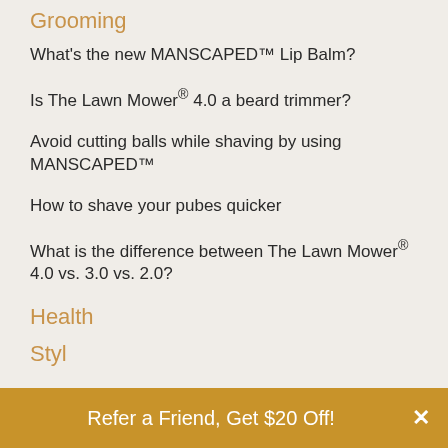Grooming
What's the new MANSCAPED™ Lip Balm?
Is The Lawn Mower® 4.0 a beard trimmer?
Avoid cutting balls while shaving by using MANSCAPED™
How to shave your pubes quicker
What is the difference between The Lawn Mower® 4.0 vs. 3.0 vs. 2.0?
Health
Styl
Refer a Friend, Get $20 Off!  ×